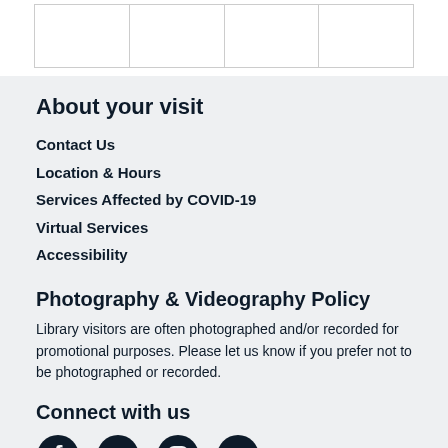|  |  |  |  |
About your visit
Contact Us
Location & Hours
Services Affected by COVID-19
Virtual Services
Accessibility
Photography & Videography Policy
Library visitors are often photographed and/or recorded for promotional purposes. Please let us know if you prefer not to be photographed or recorded.
Connect with us
[Figure (illustration): Social media icons: Facebook, Twitter, Instagram, YouTube]